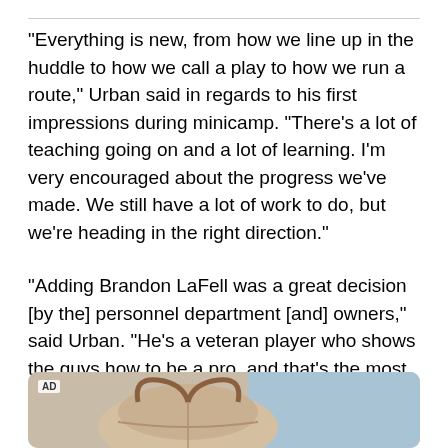"Everything is new, from how we line up in the huddle to how we call a play to how we run a route," Urban said in regards to his first impressions during minicamp. "There's a lot of teaching going on and a lot of learning. I'm very encouraged about the progress we've made. We still have a lot of work to do, but we're heading in the right direction."
"Adding Brandon LaFell was a great decision [by the] personnel department [and] owners," said Urban. "He's a veteran player who shows the guys how to be a pro, and that's the most important thing: learning how to do things the right way right now."
[Figure (photo): Advertisement image showing a handbag against a light blue background, with AD label in top left corner]